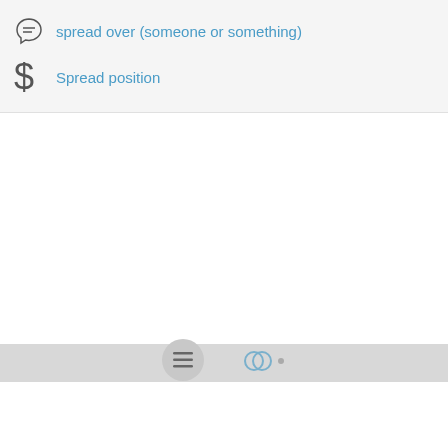spread over (someone or something)
Spread position